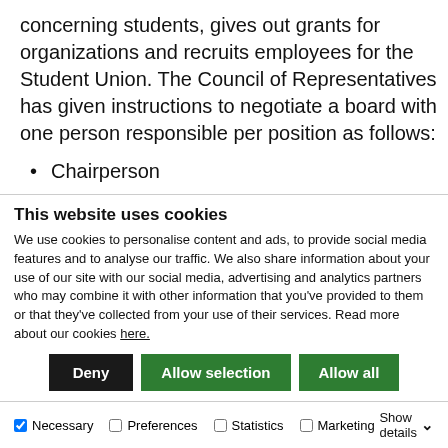concerning students, gives out grants for organizations and recruits employees for the Student Union. The Council of Representatives has given instructions to negotiate a board with one person responsible per position as follows:
Chairperson
Student Organizations
Cultural Affairs
Sustainable Development: Development
Cooperation and Environmental Affairs
This website uses cookies
We use cookies to personalise content and ads, to provide social media features and to analyse our traffic. We also share information about your use of our site with our social media, advertising and analytics partners who may combine it with other information that you've provided to them or that they've collected from your use of their services. Read more about our cookies here.
Deny | Allow selection | Allow all
Necessary  Preferences  Statistics  Marketing  Show details